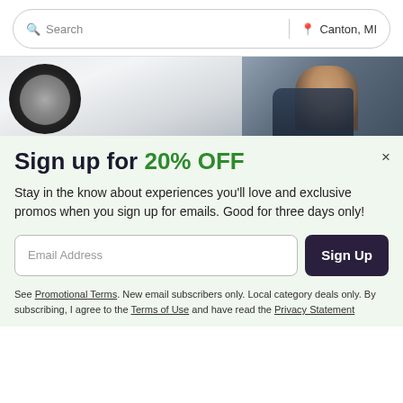Search | Canton, MI
[Figure (photo): A mechanic working on a car wheel/tire, viewed from a low angle. The person is wearing a dark shirt and leaning in toward the wheel. Background shows a garage or service environment.]
Sign up for 20% OFF
Stay in the know about experiences you'll love and exclusive promos when you sign up for emails. Good for three days only!
Email Address | Sign Up
See Promotional Terms. New email subscribers only. Local category deals only. By subscribing, I agree to the Terms of Use and have read the Privacy Statement